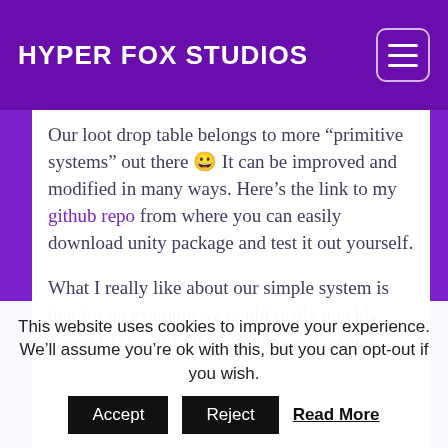HYPER FOX STUDIOS
Our loot drop table belongs to more “primitive systems” out there 😀 It can be improved and modified in many ways. Here’s the link to my github repo from where you can easily download unity package and test it out yourself.
What I really like about our simple system is that for an example we could really quickly create LDT and LDI of an integer type and
This website uses cookies to improve your experience. We’ll assume you’re ok with this, but you can opt-out if you wish. Accept Reject Read More